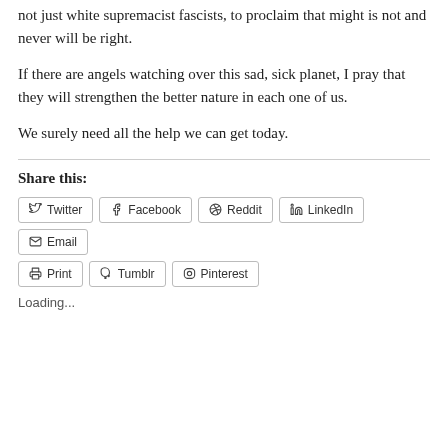not just white supremacist fascists, to proclaim that might is not and never will be right.
If there are angels watching over this sad, sick planet, I pray that they will strengthen the better nature in each one of us.
We surely need all the help we can get today.
Share this:
Twitter
Facebook
Reddit
LinkedIn
Email
Print
Tumblr
Pinterest
Loading...